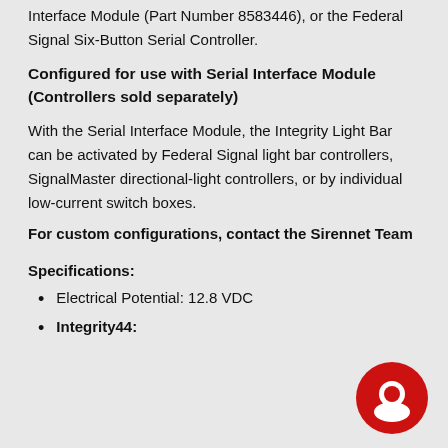Interface Module (Part Number 8583446), or the Federal Signal Six-Button Serial Controller.
Configured for use with Serial Interface Module (Controllers sold separately)
With the Serial Interface Module, the Integrity Light Bar can be activated by Federal Signal light bar controllers, SignalMaster directional-light controllers, or by individual low-current switch boxes.
For custom configurations, contact the Sirennet Team
Specifications:
Electrical Potential: 12.8 VDC
Integrity44: